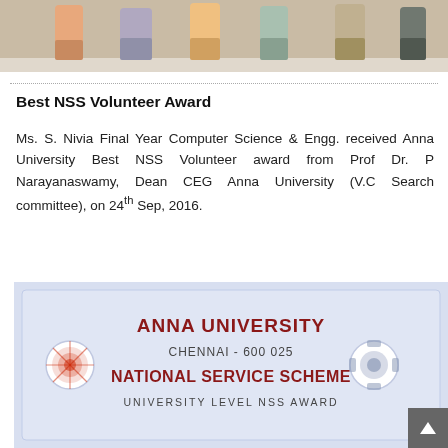[Figure (photo): Group photo of people standing, partially visible (cropped at top)]
Best NSS Volunteer Award
Ms. S. Nivia Final Year Computer Science & Engg. received Anna University Best NSS Volunteer award from Prof Dr. P Narayanaswamy, Dean CEG Anna University (V.C Search committee), on 24th Sep, 2016.
[Figure (photo): Certificate/banner board showing: ANNA UNIVERSITY CHENNAI - 600 025 NATIONAL SERVICE SCHEME UNIVERSITY LEVEL NSS AWARD, with logos on both sides]